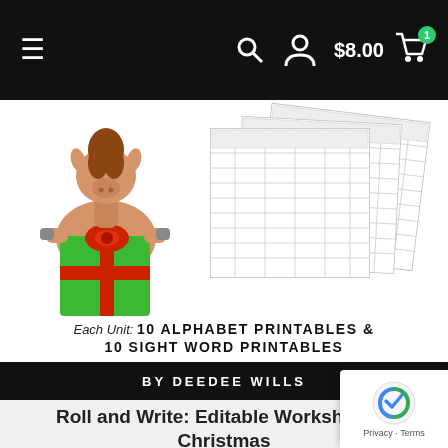Navigation bar with hamburger menu, search icon, user icon, $8.00 cart with badge 1
[Figure (photo): Product thumbnail image showing a llama character holding a green Christmas gift box, with worksheet printables fanned behind it. Text on image reads: Each Unit: 10 ALPHABET PRINTABLES & 10 SIGHT WORD PRINTABLES. Black bar at bottom: BY DEEDEE WILLS]
Roll and Write: Editable Worksheets | Christmas
$3.00
ADD TO CART